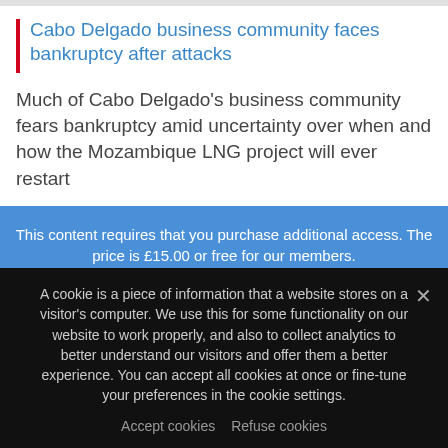Cabo Delgado business community faces bankruptcy after attacks
Much of Cabo Delgado's business community fears bankruptcy amid uncertainty over when and how the Mozambique LNG project will ever restart
This content requires that you purchase additional access. The price is £15.00 or free for our members.
Purchase this Content (£15.00)
Choose a Membership Level
A cookie is a piece of information that a website stores on a visitor's computer. We use this for some functionality on our website to work properly, and also to collect analytics to better understand our visitors and offer them a better experience. You can accept all cookies at once or fine-tune your preferences in the cookie settings.
Accept cookies   Refuse cookies